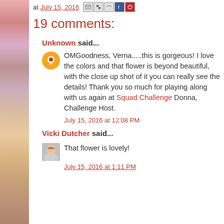at July 15, 2016
19 comments:
Unknown said...
OMGoodness, Verna.....this is gorgeous! I love the colors and that flower is beyond beautiful, with the close up shot of it you can really see the details! Thank you so much for playing along with us again at Squad Challenge Donna, Challenge Host.
July 15, 2016 at 12:08 PM
Vicki Dutcher said...
That flower is lovely!
July 15, 2016 at 1:11 PM